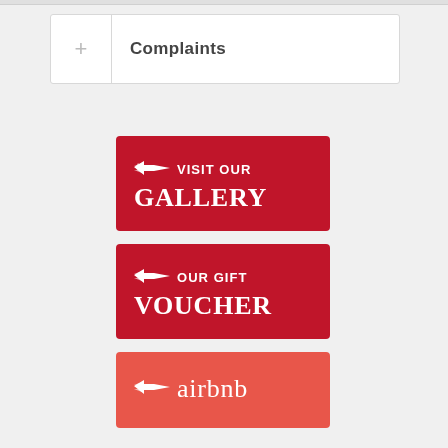| + | Complaints |
| --- | --- |
[Figure (illustration): Red banner with winged hand pointing right icon and text 'VISIT OUR GALLERY' in white on dark red background]
[Figure (illustration): Red banner with winged hand pointing right icon and text 'OUR GIFT VOUCHER' in white on dark red background]
[Figure (illustration): Salmon/coral red banner with winged hand pointing right icon and text 'airbnb' in white on lighter red background, partially visible]